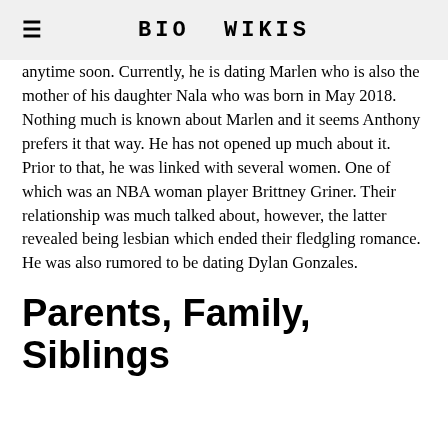BIO WIKIS
anytime soon. Currently, he is dating Marlen who is also the mother of his daughter Nala who was born in May 2018. Nothing much is known about Marlen and it seems Anthony prefers it that way. He has not opened up much about it. Prior to that, he was linked with several women. One of which was an NBA woman player Brittney Griner. Their relationship was much talked about, however, the latter revealed being lesbian which ended their fledgling romance. He was also rumored to be dating Dylan Gonzales.
Parents, Family, Siblings